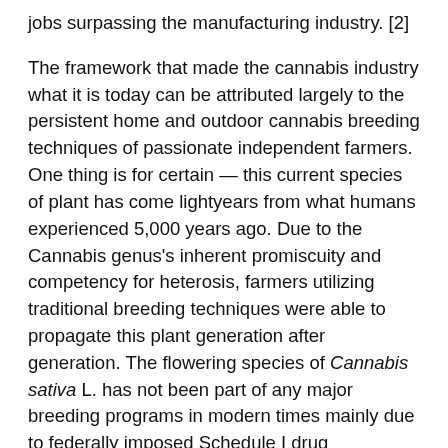jobs surpassing the manufacturing industry. [2]

The framework that made the cannabis industry what it is today can be attributed largely to the persistent home and outdoor cannabis breeding techniques of passionate independent farmers. One thing is for certain — this current species of plant has come lightyears from what humans experienced 5,000 years ago. Due to the Cannabis genus's inherent promiscuity and competency for heterosis, farmers utilizing traditional breeding techniques were able to propagate this plant generation after generation. The flowering species of Cannabis sativa L. has not been part of any major breeding programs in modern times mainly due to federally imposed Schedule I drug classifications associated with this plant. Due to the cannabis's legal status, cropping methods and breeding techniques have, for the most part, remained unsubstantiated or improperly quantified, with some published propagation/breeding data [3], but mostly unsubstantiated rumors and claims that lack peer-review. Now, credible knowledge on cannabis breeding is